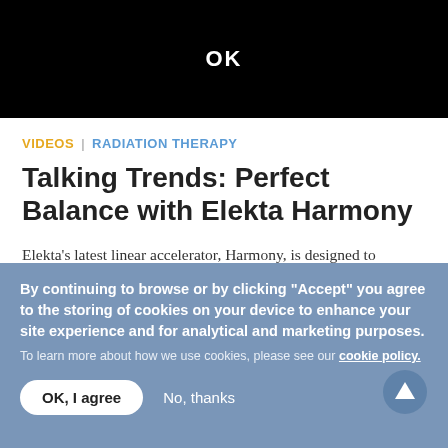[Figure (screenshot): Black video player area with white 'OK' text centered]
VIDEOS | RADIATION THERAPY
Talking Trends: Perfect Balance with Elekta Harmony
Elekta's latest linear accelerator, Harmony, is designed to provide a productive and versatile radiotherapy solution for ...
By continuing to browse or by clicking "Accept" you agree to the storing of cookies on your device to enhance your site experience and for analytical and marketing purposes. To learn more about how we use cookies, please see our cookie policy.
OK, I agree   No, thanks